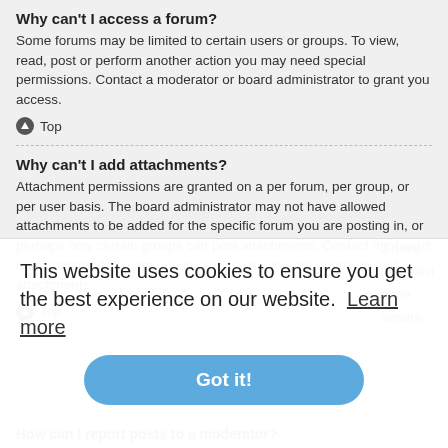Why can't I access a forum?
Some forums may be limited to certain users or groups. To view, read, post or perform another action you may need special permissions. Contact a moderator or board administrator to grant you access.
Top
Why can't I add attachments?
Attachment permissions are granted on a per forum, per group, or per user basis. The board administrator may not have allowed attachments to be added for the specific forum you are posting in, or perhaps only certain groups can post attachments. Contact the board administrator if you are unsure about why you are unable to add attachments.
Top
This website uses cookies to ensure you get the best experience on our website. Learn more
Got it!
How can I report posts to a moderator?